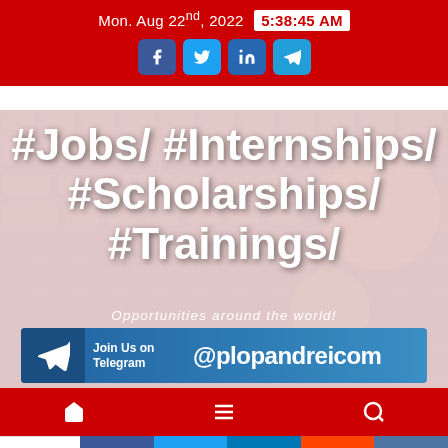Mon. Aug 22nd, 2022  5:38:45 AM
[Figure (infographic): Social media hashtag promotional banner with dark red keyboard background. Shows #Jobs/ #Internships/ #Scholarships/ #Trainings/ and subtitle 'Opportunities around the world!' with Telegram join banner '@plopandreicom']
#Jobs/ #Internships/ #Scholarships/ #Trainings/
Opportunities around the world!
Join Us on Telegram @plopandreicom
34 Shares